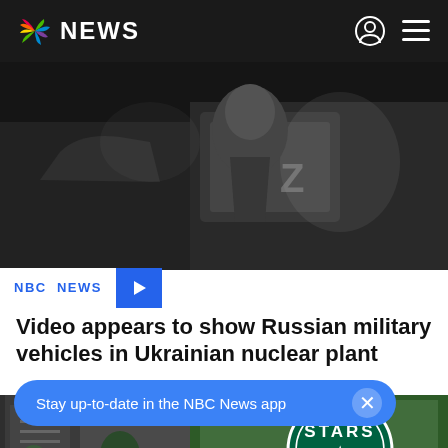NBC NEWS
[Figure (screenshot): Grainy dark video thumbnail showing Russian military vehicles, appears to be security camera or low-quality video footage with 'Z' markings visible]
NBC NEWS
Video appears to show Russian military vehicles in Ukrainian nuclear plant
[Figure (photo): Street scene showing a Stars Coffee shop (Russian Starbucks replacement) with green circular logo, urban street visible]
Stay up-to-date in the NBC News app